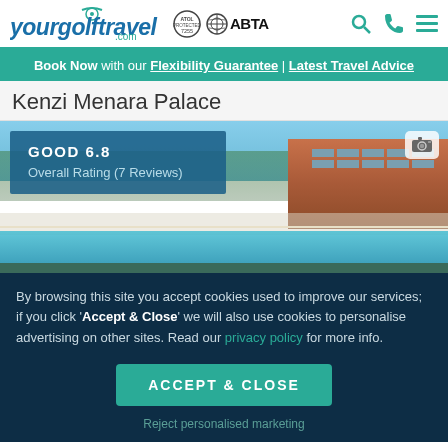yourgolftravel.com | ABTA | Search | Phone | Menu
Book Now with our Flexibility Guarantee | Latest Travel Advice
Kenzi Menara Palace
[Figure (photo): Hotel resort pool area with loungers and umbrellas, palm trees and terracotta building in background, blue sky. Rating overlay: GOOD 6.8 Overall Rating (7 Reviews). Camera icon top right.]
By browsing this site you accept cookies used to improve our services; if you click 'Accept & Close' we will also use cookies to personalise advertising on other sites. Read our privacy policy for more info.
ACCEPT & CLOSE
Reject personalised marketing